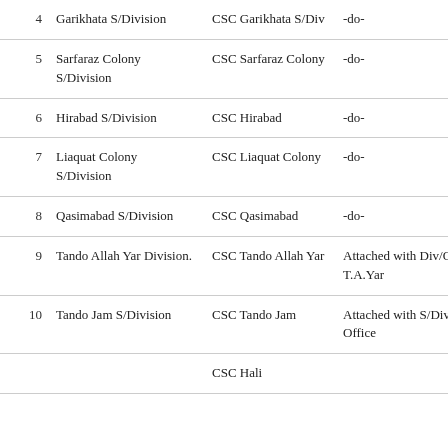| # | Division/S-Division | CSC | Location/Note |
| --- | --- | --- | --- |
| 4 | Garikhata S/Division | CSC Garikhata S/Div | -do- |
| 5 | Sarfaraz Colony S/Division | CSC Sarfaraz Colony | -do- |
| 6 | Hirabad S/Division | CSC Hirabad | -do- |
| 7 | Liaquat Colony S/Division | CSC Liaquat Colony | -do- |
| 8 | Qasimabad S/Division | CSC Qasimabad | -do- |
| 9 | Tando Allah Yar Division. | CSC Tando Allah Yar | Attached with Div/Office T.A.Yar |
| 10 | Tando Jam S/Division | CSC Tando Jam | Attached with S/Div Office |
|  |  | CSC Hali |  |